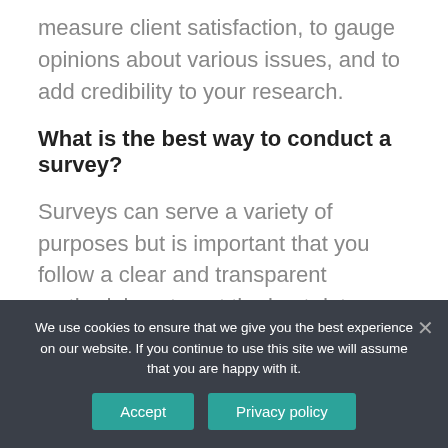measure client satisfaction, to gauge opinions about various issues, and to add credibility to your research.
What is the best way to conduct a survey?
Surveys can serve a variety of purposes but is important that you follow a clear and transparent methodology to get the best data. Start by choosing your survey's purpose and target group. Conduct the survey by contacting respondents via email, the phone...
We use cookies to ensure that we give you the best experience on our website. If you continue to use this site we will assume that you are happy with it.